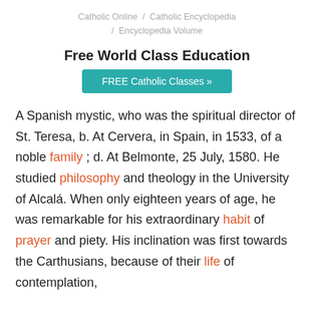Catholic Online / Catholic Encyclopedia / Encyclopedia Volume
Free World Class Education
FREE Catholic Classes »
A Spanish mystic, who was the spiritual director of St. Teresa, b. At Cervera, in Spain, in 1533, of a noble family ; d. At Belmonte, 25 July, 1580. He studied philosophy and theology in the University of Alcalá. When only eighteen years of age, he was remarkable for his extraordinary habit of prayer and piety. His inclination was first towards the Carthusians, because of their life of contemplation,